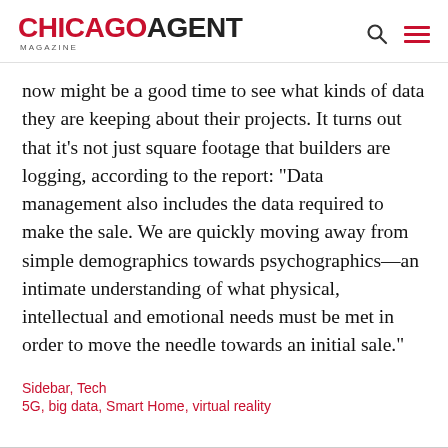CHICAGO AGENT MAGAZINE
now might be a good time to see what kinds of data they are keeping about their projects. It turns out that it’s not just square footage that builders are logging, according to the report: “Data management also includes the data required to make the sale. We are quickly moving away from simple demographics towards psychographics—an intimate understanding of what physical, intellectual and emotional needs must be met in order to move the needle towards an initial sale.”
Sidebar, Tech
5G, big data, Smart Home, virtual reality